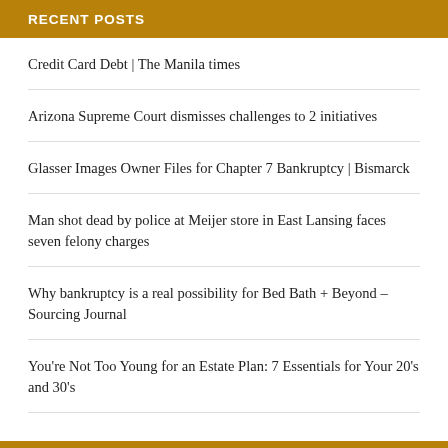RECENT POSTS
Credit Card Debt | The Manila times
Arizona Supreme Court dismisses challenges to 2 initiatives
Glasser Images Owner Files for Chapter 7 Bankruptcy | Bismarck
Man shot dead by police at Meijer store in East Lansing faces seven felony charges
Why bankruptcy is a real possibility for Bed Bath + Beyond – Sourcing Journal
You're Not Too Young for an Estate Plan: 7 Essentials for Your 20's and 30's